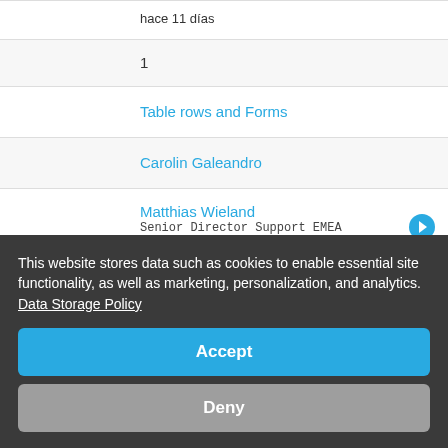hace 11 días
1
Table rows and Forms
Carolin Galeandro
Matthias Wieland
Senior Director Support EMEA
hace 11 días
1
DocuWareModule in make.com
This website stores data such as cookies to enable essential site functionality, as well as marketing, personalization, and analytics. Data Storage Policy
Accept
Deny